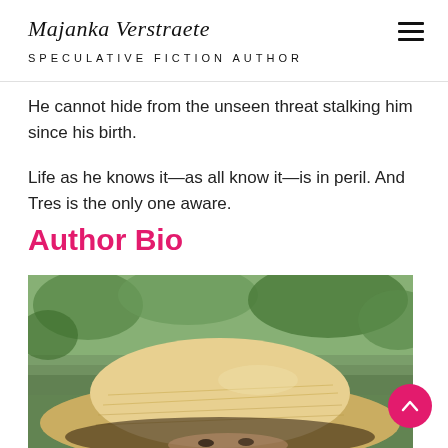Majanka Verstraete — SPECULATIVE FICTION AUTHOR
He cannot hide from the unseen threat stalking him since his birth.
Life as he knows it—as all know it—is in peril. And Tres is the only one aware.
Author Bio
[Figure (photo): Author photo: a person wearing a wide-brimmed straw/woven hat, partially obscuring face, with green foliage in the background.]